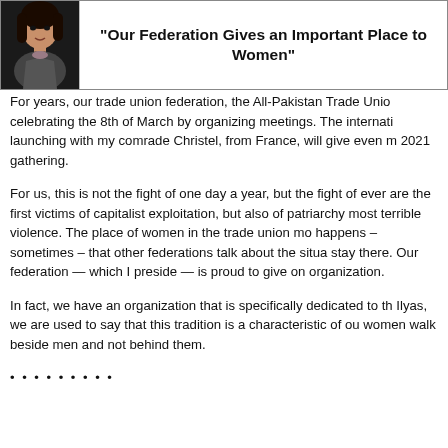[Figure (photo): Portrait photo of a woman]
“Our Federation Gives an Important Place to Women”
For years, our trade union federation, the All-Pakistan Trade Union celebrating the 8th of March by organizing meetings. The internati launching with my comrade Christel, from France, will give even m 2021 gathering.
For us, this is not the fight of one day a year, but the fight of every are the first victims of capitalist exploitation, but also of patriarchy most terrible violence. The place of women in the trade union mov happens – sometimes – that other federations talk about the situa stay there. Our federation — which I preside — is proud to give on organization.
In fact, we have an organization that is specifically dedicated to th Ilyas, we are used to say that this tradition is a characteristic of ou women walk beside men and not behind them.
• • • • • • • • •